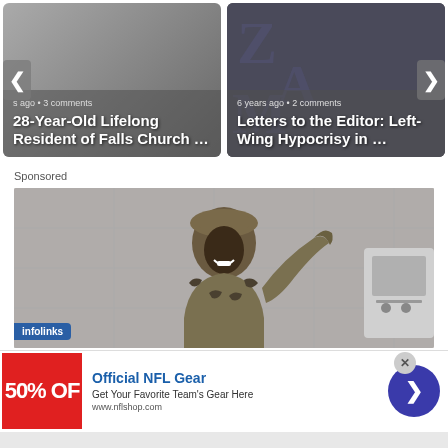[Figure (screenshot): Carousel card left: article thumbnail with navigation arrow, meta text 's ago • 3 comments', title '28-Year-Old Lifelong Resident of Falls Church ...']
[Figure (screenshot): Carousel card right: article thumbnail with navigation arrow, meta text '6 years ago • 2 comments', title 'Letters to the Editor: Left-Wing Hypocrisy in ...']
Sponsored
[Figure (photo): Large photo of a soldier in camouflage uniform and hat, smiling, with infolinks badge overlay]
[Figure (screenshot): Ad banner: Official NFL Gear - Get Your Favorite Team's Gear Here - www.nflshop.com, with red 50% OFF box and blue arrow button]